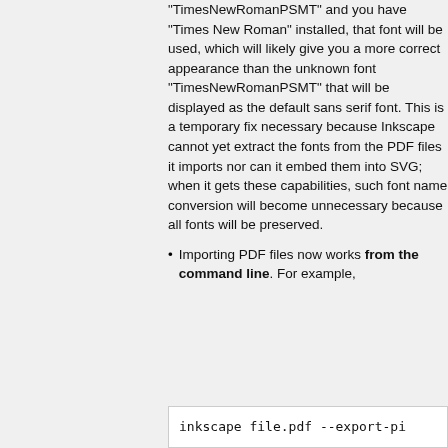"TimesNewRomanPSMT" and you have "Times New Roman" installed, that font will be used, which will likely give you a more correct appearance than the unknown font "TimesNewRomanPSMT" that will be displayed as the default sans serif font. This is a temporary fix necessary because Inkscape cannot yet extract the fonts from the PDF files it imports nor can it embed them into SVG; when it gets these capabilities, such font name conversion will become unnecessary because all fonts will be preserved.
Importing PDF files now works from the command line. For example,
inkscape file.pdf --export-pi